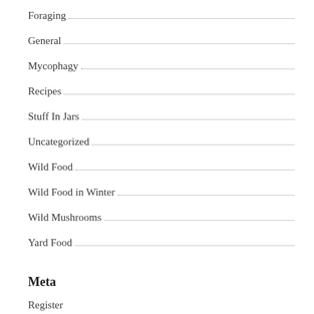Foraging
General
Mycophagy
Recipes
Stuff In Jars
Uncategorized
Wild Food
Wild Food in Winter
Wild Mushrooms
Yard Food
Meta
Register
Log in